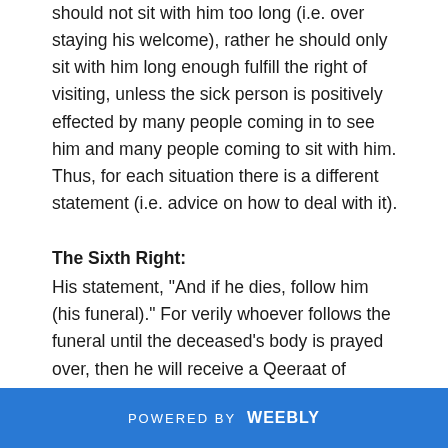should not sit with him too long (i.e. over staying his welcome), rather he should only sit with him long enough fulfill the right of visiting, unless the sick person is positively effected by many people coming in to see him and many people coming to sit with him. Thus, for each situation there is a different statement (i.e. advice on how to deal with it).
The Sixth Right:
His statement, "And if he dies, follow him (his funeral)." For verily whoever follows the funeral until the deceased's body is prayed over, then he will receive a Qeeraat of reward. (Translator's note: A Qeeraat is an amount equivalent to the size of the Mountain of Uhud in Madinah.) And if he follows the funeral procession until
POWERED BY weebly